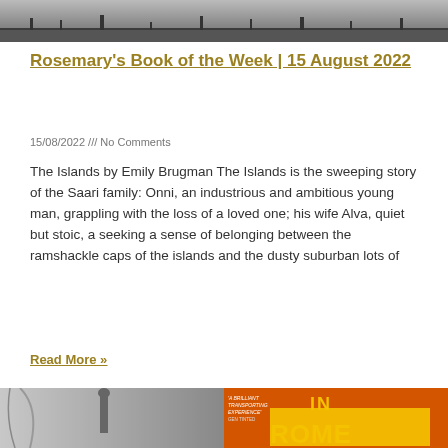[Figure (photo): Black and white photograph showing a landscape with trees or figures in the distance]
Rosemary's Book of the Week | 15 August 2022
15/08/2022 /// No Comments
The Islands by Emily Brugman The Islands is the sweeping story of the Saari family: Onni, an industrious and ambitious young man, grappling with the loss of a loved one; his wife Alva, quiet but stoic, a seeking a sense of belonging between the ramshackle caps of the islands and the dusty suburban lots of
Read More »
[Figure (photo): Image showing a statue or monument on the left side and a book cover with colorful text reading 'IN ROME' on the right side]